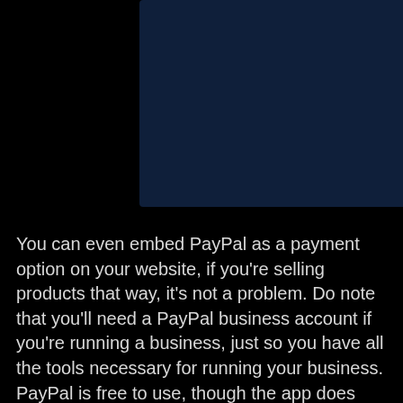[Figure (photo): A dark scene with a deep navy blue rectangular background panel on the left-center, and a black security camera or smart camera device positioned in the upper right, partially overlapping the blue panel. The camera has a large circular lens and a smaller component below it. The overall background is black.]
You can even embed PayPal as a payment option on your website, if you're selling products that way, it's not a problem. Do note that you'll need a PayPal business account if you're running a business, just so you have all the tools necessary for running your business. PayPal is free to use, though the app does take a percentage of every payment that is made, so keep that in mind.